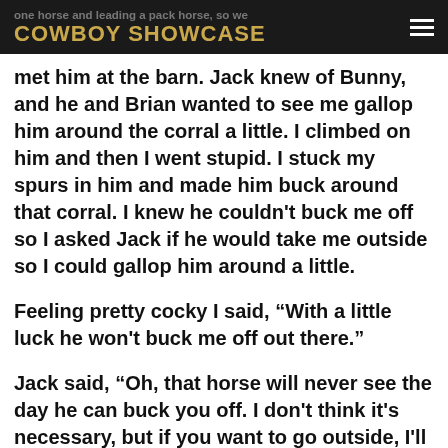COWBOY SHOWCASE
one horse and leading a pack horse, so we met him at the barn. Jack knew of Bunny, and he and Brian wanted to see me gallop him around the corral a little.  I climbed on him and then I went stupid.  I stuck my spurs in him and made him buck around that corral.  I knew he couldn't buck me off so I asked Jack if he would take me outside so I could gallop him around a little.
Feeling pretty cocky I said, “With a little luck he won't buck me off out there.”
Jack said, “Oh, that horse will never see the day he can buck you off.  I don't think it's necessary, but if you want to go outside, I'll go with you.”